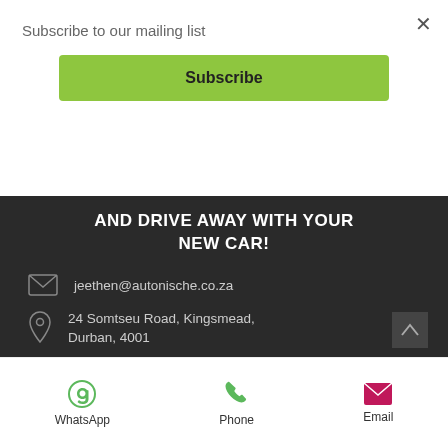Subscribe to our mailing list
Subscribe
AND DRIVE AWAY WITH YOUR NEW CAR!
jeethen@autonische.co.za
24 Somtseu Road, Kingsmead, Durban, 4001
Tel: 031 263 0337
Sashin: 061 564 1292
Zunaid: 083 950 5051
WhatsApp
Phone
Email